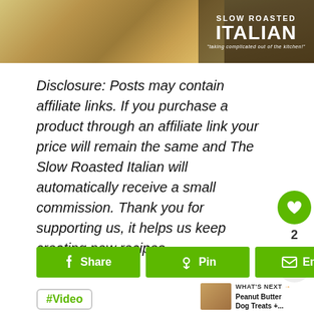[Figure (photo): Banner showing food in background with Slow Roasted Italian logo overlay on dark background]
Disclosure: Posts may contain affiliate links. If you purchase a product through an affiliate link your price will remain the same and The Slow Roasted Italian will automatically receive a small commission. Thank you for supporting us, it helps us keep creating new recipes.
Share
Pin
Email
#Video